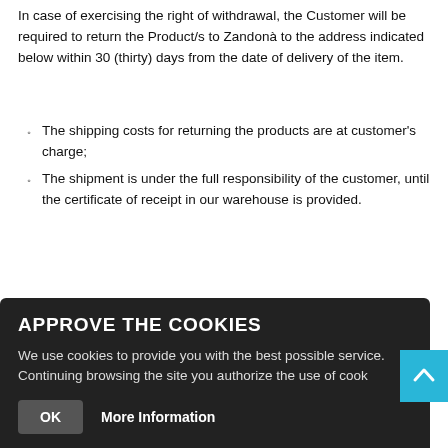In case of exercising the right of withdrawal, the Customer will be required to return the Product/s to Zandonà to the address indicated below within 30 (thirty) days from the date of delivery of the item.
The shipping costs for returning the products are at customer's charge;
The shipment is under the full responsibility of the customer, until the certificate of receipt in our warehouse is provided.
Essential condition for the exercise of the right of withdrawal is the substantial integrity of the Product to be returned. However, it is sufficient that the Product/s are
APPROVE THE COOKIES
We use cookies to provide you with the best possible service. Continuing browsing the site you authorize the use of cook
OK
More Information